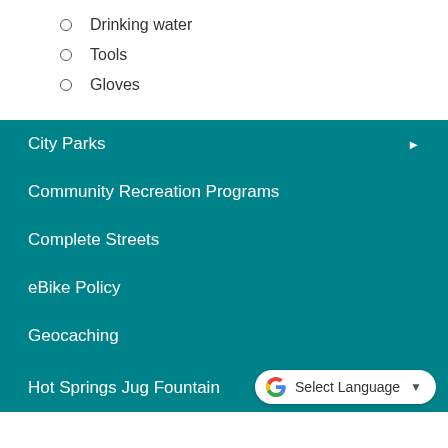Drinking water
Tools
Gloves
City Parks
Community Recreation Programs
Complete Streets
eBike Policy
Geocaching
Hot Springs Jug Fountain